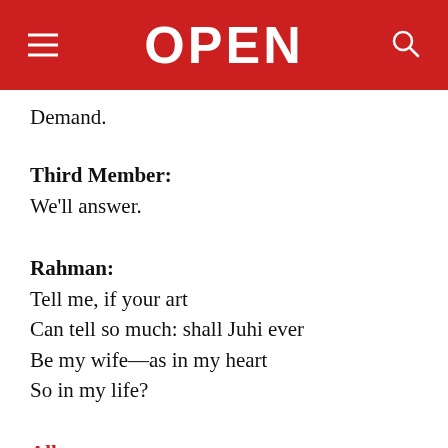OPEN
Demand.
Third Member:
We'll answer.
Rahman:
Tell me, if your art
Can tell so much: shall Juhi ever
Be my wife—as in my heart
So in my life?
All